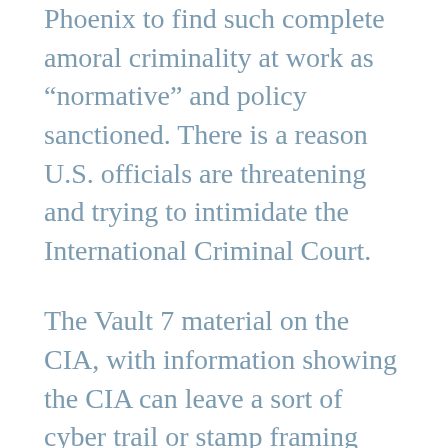Phoenix to find such complete amoral criminality at work as “normative” and policy sanctioned. There is a reason U.S. officials are threatening and trying to intimidate the International Criminal Court.
The Vault 7 material on the CIA, with information showing the CIA can leave a sort of cyber trail or stamp framing any foreign entity they like with a bogus charge for “hacking” certainly removed the plausible deniability options from the boys at Langley. The public knowledge of this